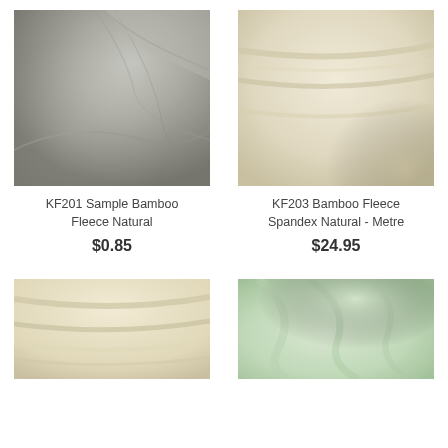[Figure (photo): Close-up photo of bamboo fleece natural fabric in grey-white color, folded textile texture]
[Figure (photo): Close-up photo of bamboo fleece spandex natural fabric in cream/beige color, draped textile texture]
KF201 Sample Bamboo Fleece Natural
$0.85
KF203 Bamboo Fleece Spandex Natural - Metre
$24.95
[Figure (photo): Close-up photo of cream/natural bamboo fleece fabric, folded textile]
[Figure (photo): Close-up photo of light green bamboo fabric, soft draped textile texture]